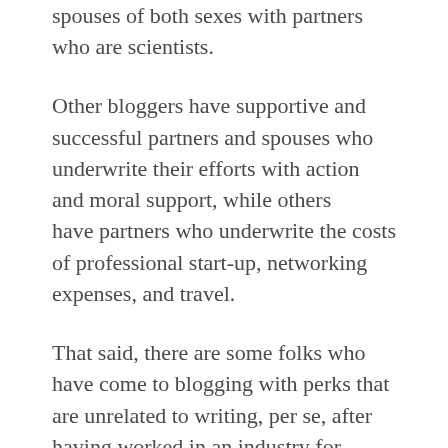spouses of both sexes with partners who are scientists.
Other bloggers have supportive and successful partners and spouses who underwrite their efforts with action and moral support, while others have partners who underwrite the costs of professional start-up, networking expenses, and travel.
That said, there are some folks who have come to blogging with perks that are unrelated to writing, per se, after having worked in an industry for years, and they bring their networks or expertise with them.
Still others just have the seemingly innate ability to sell, sell, sell themselves. Marketing is a skill that